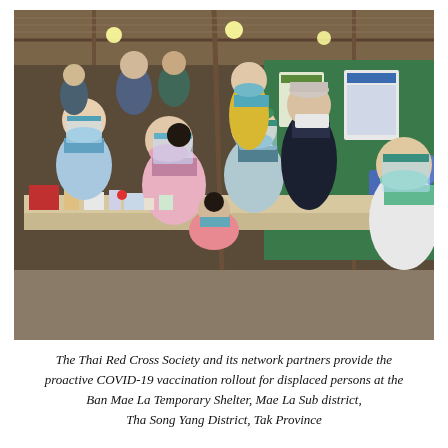[Figure (photo): Indoor vaccination setting showing medical workers in blue PPE gowns, face shields, and masks administering COVID-19 vaccines to seated recipients. A person in a dark suit with a face mask observes. Blue plastic chairs, tables with medical supplies, and informational posters on green walls are visible in the background. The shelter has a wood and corrugated roof structure.]
The Thai Red Cross Society and its network partners provide the proactive COVID-19 vaccination rollout for displaced persons at the Ban Mae La Temporary Shelter, Mae La Sub district, Tha Song Yang District, Tak Province